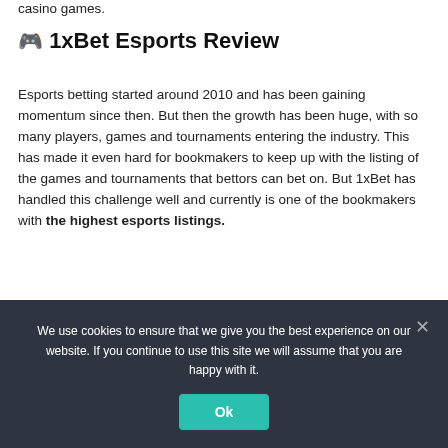casino games.
🎮 1xBet Esports Review
Esports betting started around 2010 and has been gaining momentum since then. But then the growth has been huge, with so many players, games and tournaments entering the industry. This has made it even hard for bookmakers to keep up with the listing of the games and tournaments that bettors can bet on. But 1xBet has handled this challenge well and currently is one of the bookmakers with the highest esports listings.
The games at 1xBet are very diverse, from single-
We use cookies to ensure that we give you the best experience on our website. If you continue to use this site we will assume that you are happy with it.